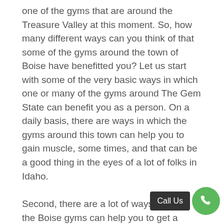one of the gyms that are around the Treasure Valley at this moment. So, how many different ways can you think of that some of the gyms around the town of Boise have benefitted you? Let us start with some of the very basic ways in which one or many of the gyms around The Gem State can benefit you as a person. On a daily basis, there are ways in which the gyms around this town can help you to gain muscle, some times, and that can be a good thing in the eyes of a lot of folks in Idaho.
Second, there are a lot of ways in which the Boise gyms can help you to get a whole lot more energy than you previously had in the past, and that can be a really great thing to have when you think about it. There are even